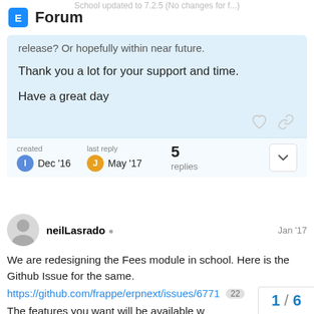Forum | School updated to 7.2.5 (No changes for f...)
release? Or hopefully within near future.
Thank you a lot for your support and time.
Have a great day
created Dec '16  last reply May '17  5 replies
neilLasrado  Jan '17
We are redesigning the Fees module in school. Here is the Github Issue for the same.
https://github.com/frappe/erpnext/issues/6771  22
The features you want will be available w
1 / 6